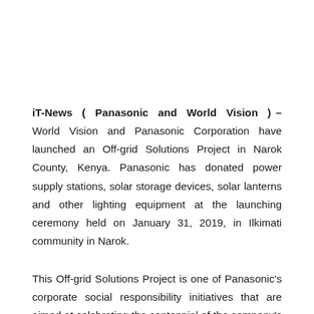iT-News ( Panasonic and World Vision ) – World Vision and Panasonic Corporation have launched an Off-grid Solutions Project in Narok County, Kenya. Panasonic has donated power supply stations, solar storage devices, solar lanterns and other lighting equipment at the launching ceremony held on January 31, 2019, in Ilkimati community in Narok.
This Off-grid Solutions Project is one of Panasonic's corporate social responsibility initiatives that are aimed at celebrating the centennial of the company's founding. This project is intended for communities in Asia and Africa with a